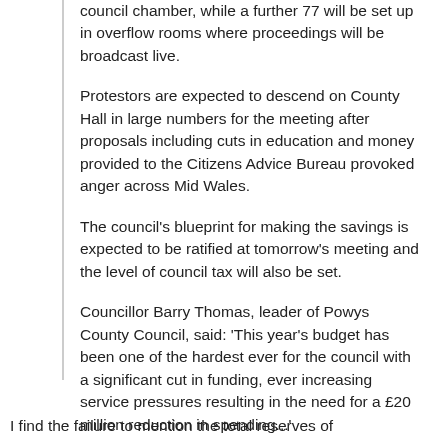council chamber, while a further 77 will be set up in overflow rooms where proceedings will be broadcast live.
Protestors are expected to descend on County Hall in large numbers for the meeting after proposals including cuts in education and money provided to the Citizens Advice Bureau provoked anger across Mid Wales.
The council's blueprint for making the savings is expected to be ratified at tomorrow's meeting and the level of council tax will also be set.
Councillor Barry Thomas, leader of Powys County Council, said: 'This year's budget has been one of the hardest ever for the council with a significant cut in funding, ever increasing service pressures resulting in the need for a £20 million reduction in spending...'
I find the failure to mention the total reserves of